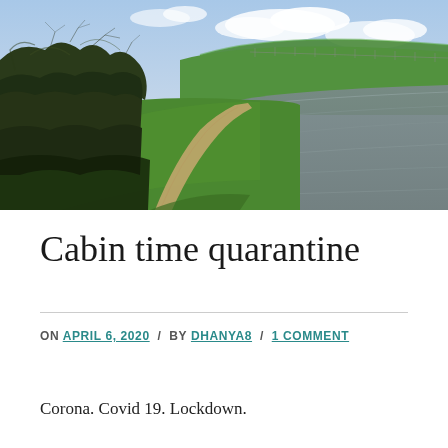[Figure (photo): Outdoor photograph showing a grassy canal or river path. On the left side there are bare winter trees/bushes. A dirt footpath runs along the middle between the grass embankments. A body of calm grey-brown water (canal or reservoir) is on the right side. Green grassy hills rise in the background under a partly cloudy sky.]
Cabin time quarantine
ON APRIL 6, 2020 / BY DHANYA8 / 1 COMMENT
Corona. Covid 19. Lockdown.